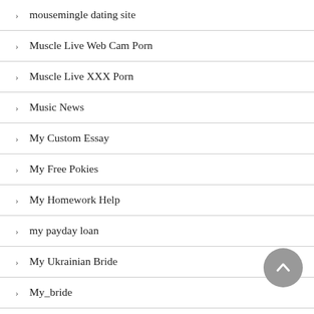mousemingle dating site
Muscle Live Web Cam Porn
Muscle Live XXX Porn
Music News
My Custom Essay
My Free Pokies
My Homework Help
my payday loan
My Ukrainian Bride
My_bride
myadmissionsessay